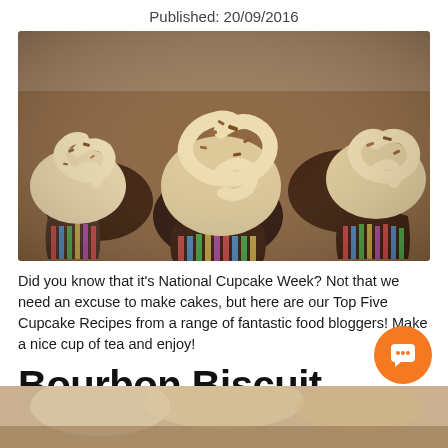Published: 20/09/2016
[Figure (photo): Chocolate cupcakes with swirled cream frosting and crumbled toppings, viewed from above and slightly angled]
Did you know that it's National Cupcake Week? Not that we need an excuse to make cakes, but here are our Top Five Cupcake Recipes from a range of fantastic food bloggers! Make a nice cup of tea and enjoy!
Bourbon Biscuit Cupcakes
[Figure (photo): Partial view of another cupcake photo at the bottom of the page]